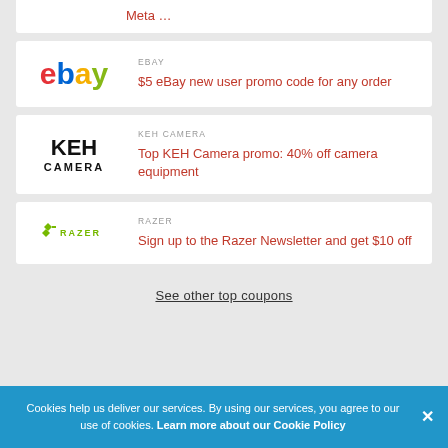Meta …
[Figure (logo): eBay logo with colored letters]
EBAY
$5 eBay new user promo code for any order
[Figure (logo): KEH Camera logo in black bold text]
KEH CAMERA
Top KEH Camera promo: 40% off camera equipment
[Figure (logo): Razer logo in green with text RAZER]
RAZER
Sign up to the Razer Newsletter and get $10 off
See other top coupons
Cookies help us deliver our services. By using our services, you agree to our use of cookies. Learn more about our Cookie Policy